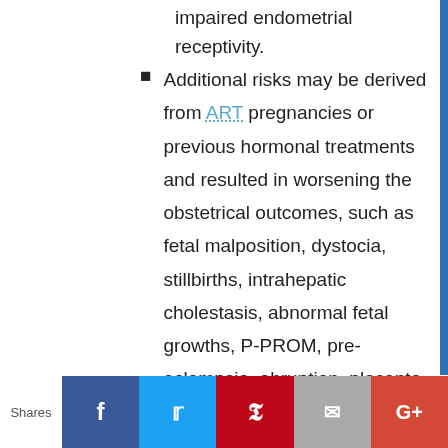impaired endometrial receptivity.
Additional risks may be derived from ART pregnancies or previous hormonal treatments and resulted in worsening the obstetrical outcomes, such as fetal malposition, dystocia, stillbirths, intrahepatic cholestasis, abnormal fetal growths, P-PROM, pre-eclampsia, abruption, placenta previa, abnormal invasive placenta, antenatal and intrapartum hemorrhage, even uterine rupture or bowel perforation.
Shares | Facebook | Twitter | Pinterest | Email | Google+